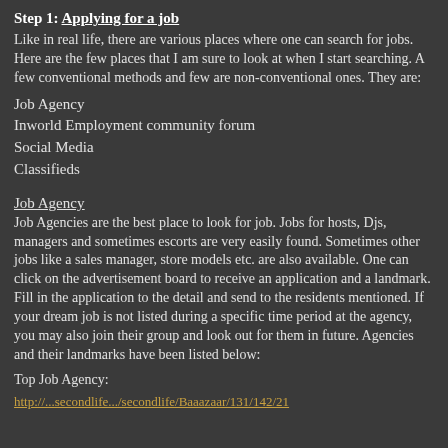Step 1: Applying for a job
Like in real life, there are various places where one can search for jobs. Here are the few places that I am sure to look at when I start searching. A few conventional methods and few are non-conventional ones. They are:
Job Agency
Inworld Employment community forum
Social Media
Classifieds
Job Agency
Job Agencies are the best place to look for job. Jobs for hosts, Djs, managers and sometimes escorts are very easily found. Sometimes other jobs like a sales manager, store models etc. are also available. One can click on the advertisement board to receive an application and a landmark. Fill in the application to the detail and send to the residents mentioned.  If your dream job is not listed during a specific time period at the agency, you may also join their group and look out for them in future. Agencies and their landmarks have been listed below:
Top Job Agency:
http://...secondlife.../secondlife/Baaazaar/131/142/21